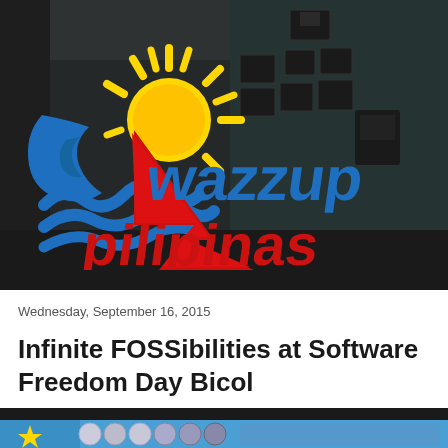[Figure (logo): Wazzup Pilipinas logo with Philippine flag-inspired design: sun with rays in yellow, wave elements in blue, red lightning bolt/chevron shape, text 'wazzup' in blue and 'pilipinas' in red, set against a dark vintage room background]
Wednesday, September 16, 2015
Infinite FOSSibilities at Software Freedom Day Bicol
[Figure (illustration): Partial banner image visible at bottom of page with colorful logos/icons on blue background]